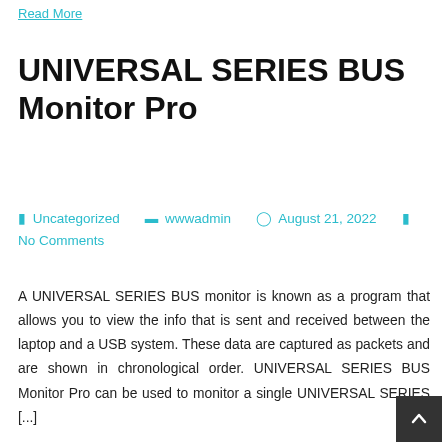Read More
UNIVERSAL SERIES BUS Monitor Pro
Uncategorized   wwwadmin   August 21, 2022   No Comments
A UNIVERSAL SERIES BUS monitor is known as a program that allows you to view the info that is sent and received between the laptop and a USB system. These data are captured as packets and are shown in chronological order. UNIVERSAL SERIES BUS Monitor Pro can be used to monitor a single UNIVERSAL SERIES [...]